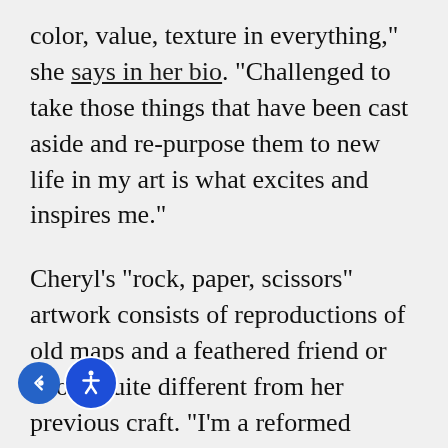color, value, texture in everything," she says in her bio. "Challenged to take those things that have been cast aside and re-purpose them to new life in my art is what excites and inspires me."
Cheryl's "rock, paper, scissors" artwork consists of reproductions of old maps and a feathered friend or two is quite different from her previous craft. "I'm a reformed quilter," she says. This will be Cheryl's sixth attendance at the Edmonds festival. Her first took place the same weekend she took ownership of her new home in Edmonds. She spent the weekend working at the festival and then coming home